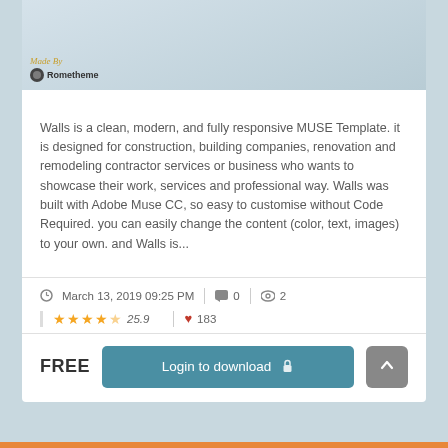[Figure (screenshot): Preview screenshot of Walls MUSE template showing website on devices, with 'Made By Rometheme' branding and Adobe Muse CC logo]
Walls is a clean, modern, and fully responsive MUSE Template. it is designed for construction, building companies, renovation and remodeling contractor services or business who wants to showcase their work, services and professional way. Walls was built with Adobe Muse CC, so easy to customise without Code Required. you can easily change the content (color, text, images) to your own. and Walls is...
March 13, 2019 09:25 PM   0   2
25.9   183
FREE
Login to download